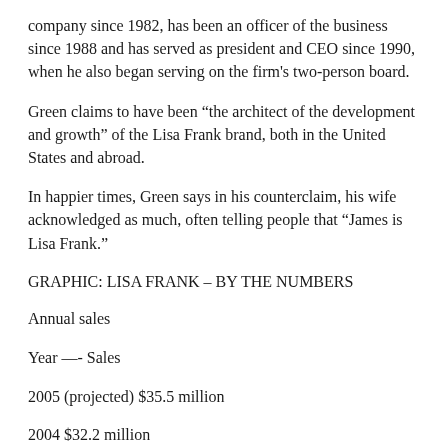company since 1982, has been an officer of the business since 1988 and has served as president and CEO since 1990, when he also began serving on the firm's two-person board.
Green claims to have been “the architect of the development and growth” of the Lisa Frank brand, both in the United States and abroad.
In happier times, Green says in his counterclaim, his wife acknowledged as much, often telling people that “James is Lisa Frank.”
GRAPHIC: LISA FRANK – BY THE NUMBERS
Annual sales
Year —- Sales
2005 (projected) $35.5 million
2004 $32.2 million